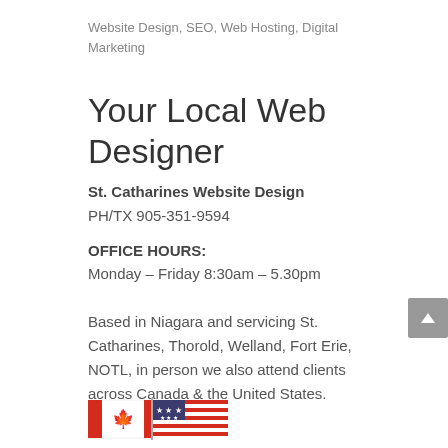Website Design, SEO, Web Hosting, Digital Marketing
Your Local Web Designer
St. Catharines Website Design
PH/TX 905-351-9594
OFFICE HOURS:
Monday – Friday 8:30am – 5.30pm
Based in Niagara and servicing St. Catharines, Thorold, Welland, Fort Erie, NOTL, in person we also attend clients across Canada & the United States.
[Figure (illustration): Combined Canadian and American flag illustration]